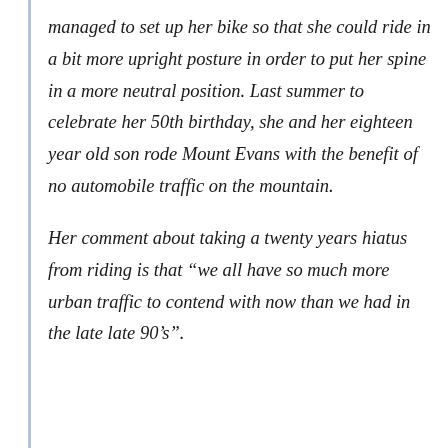managed to set up her bike so that she could ride in a bit more upright posture in order to put her spine in a more neutral position. Last summer to celebrate her 50th birthday, she and her eighteen year old son rode Mount Evans with the benefit of no automobile traffic on the mountain.
Her comment about taking a twenty years hiatus from riding is that “we all have so much more urban traffic to contend with now than we had in the late late 90’s”.